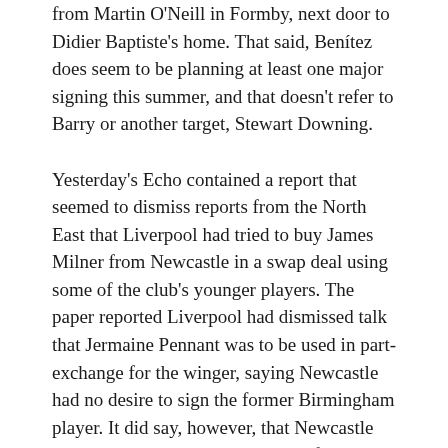from Martin O'Neill in Formby, next door to Didier Baptiste's home. That said, Benítez does seem to be planning at least one major signing this summer, and that doesn't refer to Barry or another target, Stewart Downing.
Yesterday's Echo contained a report that seemed to dismiss reports from the North East that Liverpool had tried to buy James Milner from Newcastle in a swap deal using some of the club's younger players. The paper reported Liverpool had dismissed talk that Jermaine Pennant was to be used in part-exchange for the winger, saying Newcastle had no desire to sign the former Birmingham player. It did say, however, that Newcastle had asked Liverpool about some of Liverpool's “fringe players”.
John Arne Riise is interesting Italy's Roma, but his agent is playing down their interest. The Roma